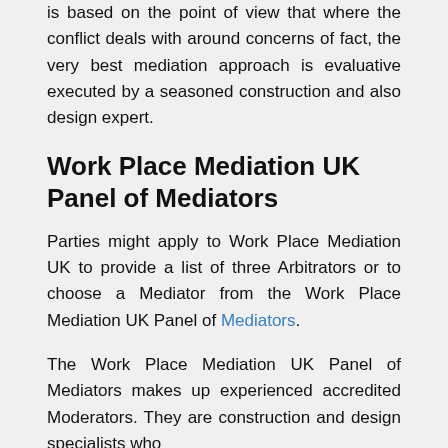is based on the point of view that where the conflict deals with around concerns of fact, the very best mediation approach is evaluative executed by a seasoned construction and also design expert.
Work Place Mediation UK Panel of Mediators
Parties might apply to Work Place Mediation UK to provide a list of three Arbitrators or to choose a Mediator from the Work Place Mediation UK Panel of Mediators.
The Work Place Mediation UK Panel of Mediators makes up experienced accredited Moderators. They are construction and design specialists who